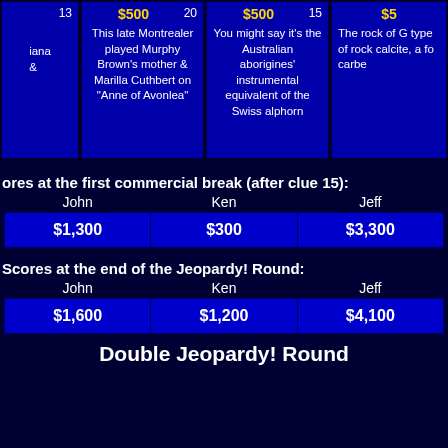[Figure (screenshot): Jeopardy game board row showing clue cells with $500 amounts, clue numbers 13, 20, 15, and partial clue texts about Murphy Brown's mother/Anne of Avonlea, Australian aborigines' instrument, and rock of Gibraltar/calcite]
ores at the first commercial break (after clue 15):
| John | Ken | Jeff |
| --- | --- | --- |
| $1,300 | $300 | $3,300 |
Scores at the end of the Jeopardy! Round:
| John | Ken | Jeff |
| --- | --- | --- |
| $1,600 | $1,200 | $4,100 |
Double Jeopardy! Round